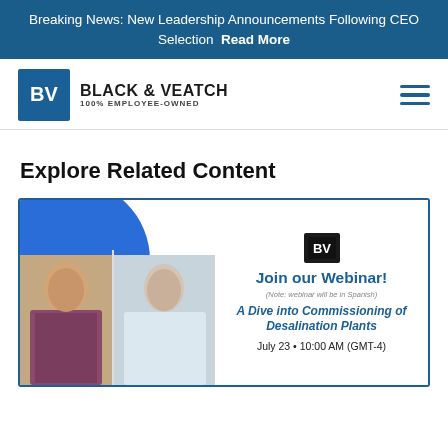Breaking News: New Leadership Announcements Following CEO Selection Read More
[Figure (logo): Black & Veatch logo with BV icon and 100% EMPLOYEE-OWNED tagline, plus hamburger menu icon]
Explore Related Content
[Figure (infographic): Webinar promotional card with BV logo, two speaker photos, blue circle background, text: Join our Webinar! (Note: webinar will be in Spanish) A Dive into Commissioning of Desalination Plants July 23 • 10:00 AM (GMT-4)]